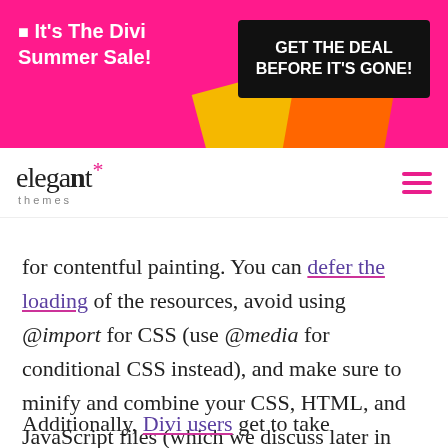[Figure (other): Promotional banner with pink/magenta background, yellow and orange shapes. Left side reads: star It's The Divi Summer Sale! Right side black box reads: GET THE DEAL BEFORE IT'S GONE!]
[Figure (logo): Elegant Themes logo with pink asterisk and hamburger menu icon]
for contentful painting. You can defer the loading of the resources, avoid using @import for CSS (use @media for conditional CSS instead), and make sure to minify and combine your CSS, HTML, and JavaScript files (which we discuss later in this article).
Additionally, Divi users get to take